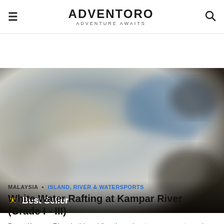ADVENTORO — ADVENTURE AWAITS
[Figure (photo): Blurred white water rafting scene on a river, with a Best Seller badge overlay at the bottom left showing a gold star and the text 'Best Seller']
MALAYSIA • ISLAND, RIVER & WATERSPORTS
White Water Rafting at Kampar River (Grade I - III)
Brave Kampar River in this exhilarating adventure as you stomach the roar of the rapids and the swerve and sway of this white water rafting adventure
USD 00